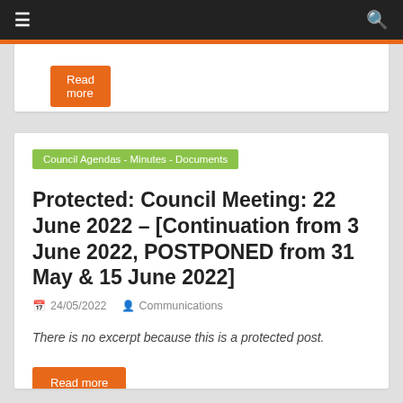≡  🔍
Read more
Council Agendas - Minutes - Documents
Protected: Council Meeting: 22 June 2022 – [Continuation from 3 June 2022, POSTPONED from 31 May & 15 June 2022]
24/05/2022  Communications
There is no excerpt because this is a protected post.
Read more